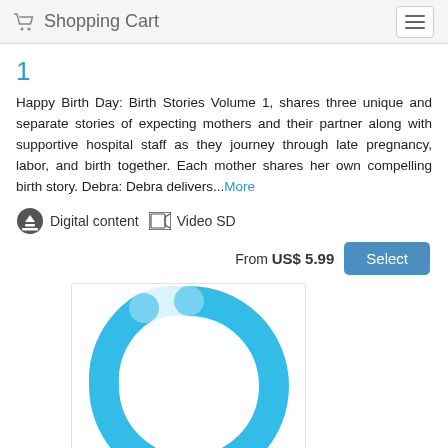Shopping Cart
1
Happy Birth Day: Birth Stories Volume 1, shares three unique and separate stories of expecting mothers and their partner along with supportive hospital staff as they journey through late pregnancy, labor, and birth together. Each mother shares her own compelling birth story. Debra: Debra delivers...More
Digital content  Video SD
From US$ 5.99  Select
[Figure (other): Circular loading spinner in cyan/light blue gradient forming a ring shape, shown on a white background inside a bordered container. The ring is partially visible, clipped at the bottom.]